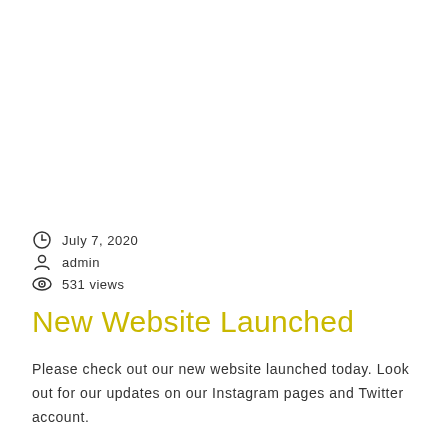July 7, 2020
admin
531 views
New Website Launched
Please check out our new website launched today. Look out for our updates on our Instagram pages and Twitter account.
Read More ›